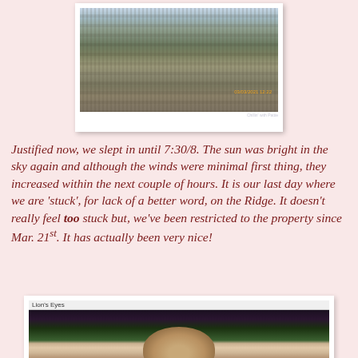[Figure (photo): Photograph of bare winter brush/reeds with sky visible, timestamp 03/03/2021 12:22 visible in bottom right, watermark text in bottom right corner]
Justified now, we slept in until 7:30/8. The sun was bright in the sky again and although the winds were minimal first thing, they increased within the next couple of hours. It is our last day where we are 'stuck', for lack of a better word, on the Ridge. It doesn't really feel too stuck but, we've been restricted to the property since Mar. 21st. It has actually been very nice!
[Figure (photo): Painting or artwork of a hedgehog face with spiky fur, on a dark background with green grass, title 'Lion's Eyes' visible at top]